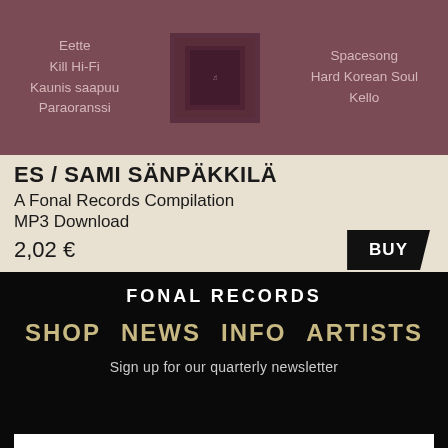[Figure (illustration): Album cover image for ES / Sami Sänpäkkilä compilation, showing a dark mauve/purple background with track names listed on left and right sides and a small album thumbnail in the center. Left side tracks: Eette, Kill Hi-Fi, Kaunis saapuu, Paraoranssi. Right side tracks: Spacesong, Hard Korean Soul, Kello.]
ES / SAMI SÄNPÄKKILÄ
A Fonal Records Compilation
MP3 Download
2,02 €
BUY
FONAL RECORDS
SHOP  NEWS  INFO  ARTISTS
Sign up for our quarterly newsletter